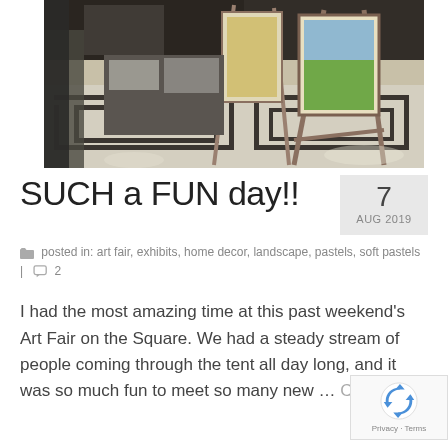[Figure (photo): Outdoor art fair booth with paintings on easels, geometric black and white patterned rug on the ground, artworks leaning against display stands in sunlight]
SUCH a FUN day!!
7 AUG 2019
posted in: art fair, exhibits, home decor, landscape, pastels, soft pastels   |   2
I had the most amazing time at this past weekend's Art Fair on the Square. We had a steady stream of people coming through the tent all day long, and it was so much fun to meet so many new … Continued